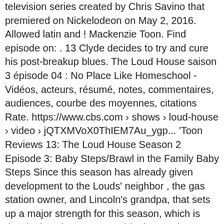television series created by Chris Savino that premiered on Nickelodeon on May 2, 2016. Allowed latin and ! Mackenzie Toon. Find episode on: . 13 Clyde decides to try and cure his post-breakup blues. The Loud House saison 3 épisode 04 : No Place Like Homeschool - Vidéos, acteurs, résumé, notes, commentaires, audiences, courbe des moyennes, citations Rate. https://www.cbs.com › shows › loud-house › video › jQTXMVoX0ThIEM7Au_ygp... 'Toon Reviews 13: The Loud House Season 2 Episode 3: Baby Steps/Brawl in the Family Baby Steps Since this season has already given development to the Louds' neighbor , the gas station owner, and Lincoln's grandpa, that sets up a major strength for this season, which is developing characters outside the Loud ... Comments. Track The Loud House season 2 episodes. The Loud House - S2 Ep. The season three order is a demonstration of Nickelodeon's continued commitment to bringing fresh stories to our viewers. The series focuses on Lincoln Loud, the middle and only male child in a house full of girls, who is often breaking the fourth wall to explain to viewers the chaotic conditions and sibling relationships of the